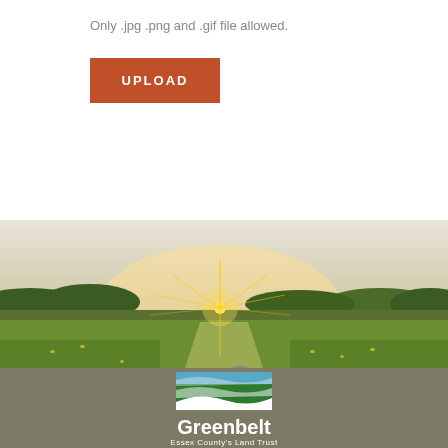Only .jpg .png and .gif file allowed.
UPLOAD
[Figure (photo): Landscape photo showing a meadow with rocks, wildflowers, green grass, treeline in the background, and a bright sun setting or rising on the horizon with starburst rays. An upload arrow icon overlaid at the bottom center.]
[Figure (logo): Greenbelt Essex County's Land Trust logo with blue and green wave bands and white wave, followed by text 'Greenbelt' in bold white and 'Essex County's Land Trust' below in white on a dark olive/grey background.]